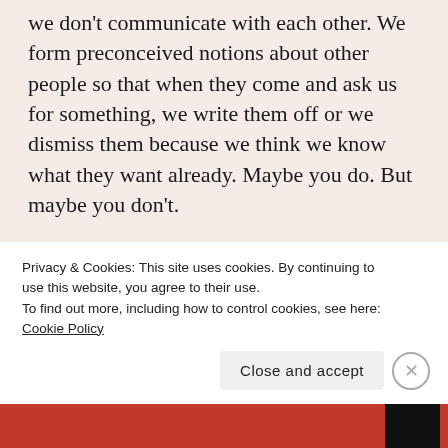we don't communicate with each other. We form preconceived notions about other people so that when they come and ask us for something, we write them off or we dismiss them because we think we know what they want already. Maybe you do. But maybe you don't.
In the corporate culture where I work, it's essential to get along with people, but it's also essential to get information from people. If people around me don't do their jobs, if they don't get me the information I need, I can't do my work. I suspect that many of you
Privacy & Cookies: This site uses cookies. By continuing to use this website, you agree to their use.
To find out more, including how to control cookies, see here: Cookie Policy